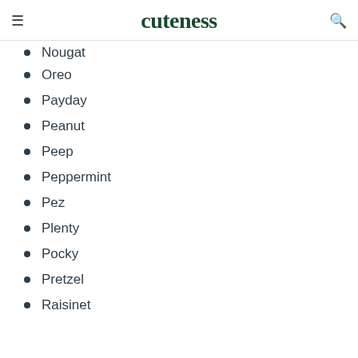cuteness
Nougat
Oreo
Payday
Peanut
Peep
Peppermint
Pez
Plenty
Pocky
Pretzel
Raisinet